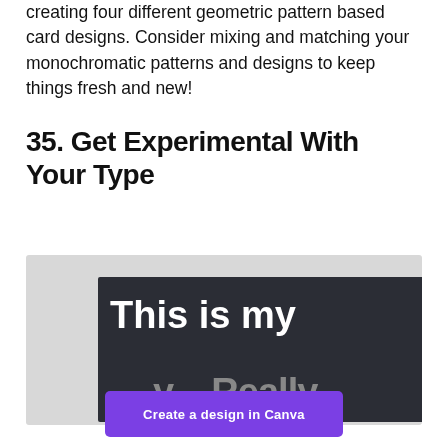creating four different geometric pattern based card designs. Consider mixing and matching your monochromatic patterns and designs to keep things fresh and new!
35. Get Experimental With Your Type
[Figure (photo): A design image showing a dark card with large bold white text 'This is my' and gray text 'Really' overlapping, alongside a list of city time offsets on the right side. The card sits on a light gray background.]
Create a design in Canva